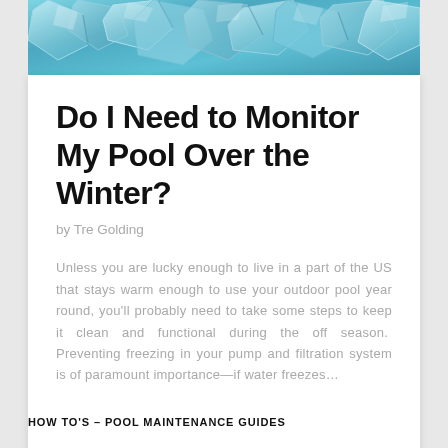[Figure (photo): Close-up photograph of ice chunks and frozen surfaces in blue-teal tones]
Do I Need to Monitor My Pool Over the Winter?
by Tre Golding
Unless you are lucky enough to live in a part of the US that stays warm enough to use your outdoor pool year round, you’ll probably need to take some steps to keep it clean and functional during the off season.  Preventing freezing in your pump and filtration system is of paramount importance—if water freezes…
HOW TO’S – POOL MAINTENANCE GUIDES